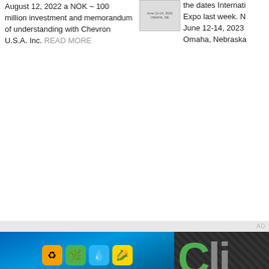August 12, 2022 a NOK ~ 100 million investment and memorandum of understanding with Chevron U.S.A. Inc. READ MORE
[Figure (other): Small thumbnail image with June 12-14, 2023 Omaha, NE text overlay for an International Expo event]
the dates International Expo last week. N June 12-14, 2023 Omaha, Nebraska
AD
[Figure (illustration): Biomass Magazine banner ad with blue gradient background, four colored icons (recycling, leaf, water drop, corn), title BIOMASS MAGAZINE, tagline Power, Fuels and Chemicals.]
[Figure (illustration): Dark carbon-fiber textured banner ad showing large Cli text in gray with green C, tagline Receive the Lat...]
[Figure (logo): Carbon Capture Magazine logo - white circular C with Carbon Capture MAGAZINE text]
Home     Subscribe Now     Biom...
[Figure (logo): BBI ME logo in white box outline on dark gray footer background]